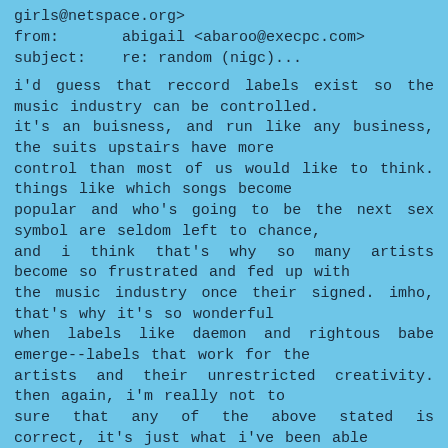girls@netspace.org>
from:       abigail <abaroo@execpc.com>
subject:    re: random (nigc)...
i'd guess that reccord labels exist so the music industry can be controlled.
it's an buisness, and run like any business, the suits upstairs have more
control than most of us would like to think. things like which songs become
popular and who's going to be the next sex symbol are seldom left to chance,
and i think that's why so many artists become so frustrated and fed up with
the music industry once their signed. imho, that's why it's so wonderful
when labels like daemon and rightous babe emerge--labels that work for the
artists and their unrestricted creativity. then again, i'm really not to
sure that any of the above stated is correct, it's just what i've been able
to gather from my standpoint :)
~abigail (go indie musicians go!)
>at 03:30 pm 9/3/96 -0400, you wrote: